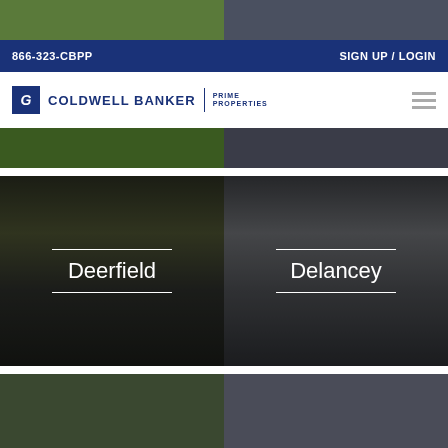[Figure (photo): Top left photo showing outdoor greenery/trees]
[Figure (photo): Top right photo showing dark interior with pillows/cushions]
866-323-CBPP   SIGN UP / LOGIN
[Figure (logo): Coldwell Banker Prime Properties logo with CB icon and hamburger menu]
[Figure (photo): Middle left photo showing outdoor/tablet scene with green grass]
[Figure (photo): Middle right photo showing dark interior room]
[Figure (photo): Property card image for Deerfield with label overlay]
[Figure (photo): Property card image for Delancey with label overlay]
[Figure (photo): Bottom left partial photo]
[Figure (photo): Bottom right partial photo]